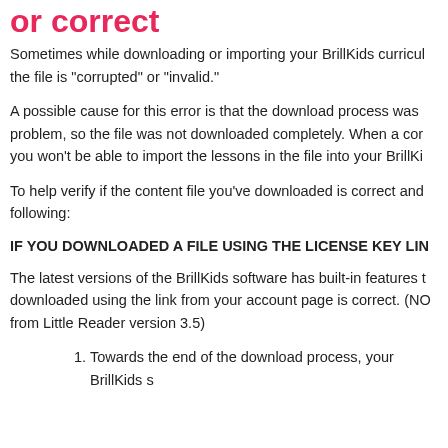or correct
Sometimes while downloading or importing your BrillKids curriculum, the file is "corrupted" or "invalid."
A possible cause for this error is that the download process was problem, so the file was not downloaded completely. When a cor you won't be able to import the lessons in the file into your BrillKi
To help verify if the content file you've downloaded is correct and following:
IF YOU DOWNLOADED A FILE USING THE LICENSE KEY LIN
The latest versions of the BrillKids software has built-in features t downloaded using the link from your account page is correct. (NO from Little Reader version 3.5)
Towards the end of the download process, your BrillKids s